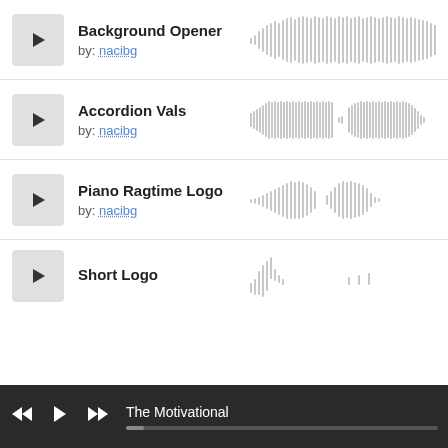[Figure (other): Music track listing UI with play buttons and audio waveforms]
Background Opener
by: nacibg
Accordion Vals
by: nacibg
Piano Ragtime Logo
by: nacibg
Short Logo
The Motivational